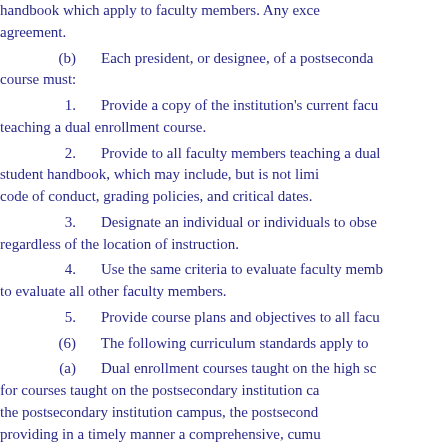handbook which apply to faculty members. Any exce agreement.
(b)    Each president, or designee, of a postseconda course must:
1.    Provide a copy of the institution's current facu teaching a dual enrollment course.
2.    Provide to all faculty members teaching a dua student handbook, which may include, but is not limi code of conduct, grading policies, and critical dates.
3.    Designate an individual or individuals to obse regardless of the location of instruction.
4.    Use the same criteria to evaluate faculty memb to evaluate all other faculty members.
5.    Provide course plans and objectives to all facu
(6)    The following curriculum standards apply to
(a)    Dual enrollment courses taught on the high sc for courses taught on the postsecondary institution ca the postsecondary institution campus, the postsecond providing in a timely manner a comprehensive, cumu of all expected learning outcomes to the faculty mem must be returned to the postsecondary institution and
(b)    Instructional materials used in dual enrollmer in courses offered by the postsecondary institution wi